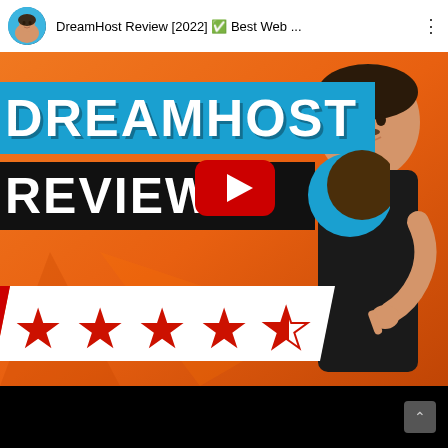DreamHost Review [2022] ✅ Best Web ...
[Figure (screenshot): YouTube video thumbnail for DreamHost Review [2022]. Orange background with 'DREAMHOST' in white bold text on blue banner, 'REVIEW' in white bold text on black banner, YouTube play button, DreamHost crescent moon logo, person pointing, and 4.5 star rating banner at bottom.]